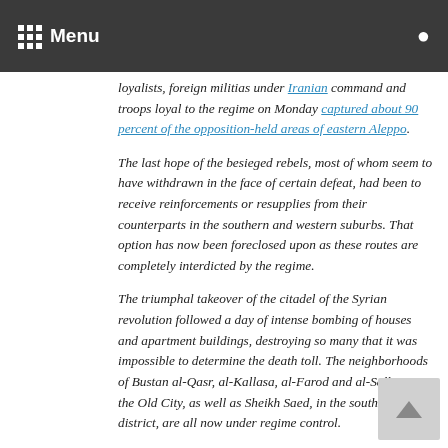Menu
loyalists, foreign militias under Iranian command and troops loyal to the regime on Monday captured about 90 percent of the opposition-held areas of eastern Aleppo.
The last hope of the besieged rebels, most of whom seem to have withdrawn in the face of certain defeat, had been to receive reinforcements or resupplies from their counterparts in the southern and western suburbs. That option has now been foreclosed upon as these routes are completely interdicted by the regime.
The triumphal takeover of the citadel of the Syrian revolution followed a day of intense bombing of houses and apartment buildings, destroying so many that it was impossible to determine the death toll. The neighborhoods of Bustan al-Qasr, al-Kallasa, al-Farod and al-Salhin in the Old City, as well as Sheikh Saed, in the southern district, are all now under regime control.
The Syrian Civil Defense, or White Helmets, an internationally renowned team of first responders, said more